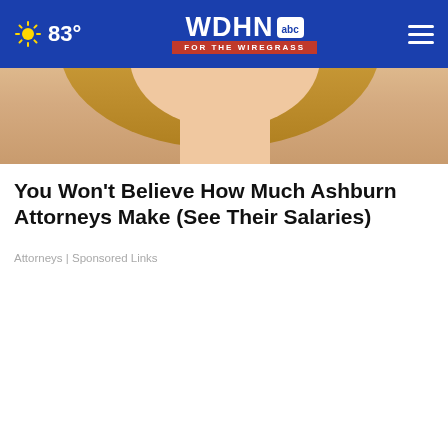WDHN abc FOR THE WIREGRASS — 83°
[Figure (photo): Partial view of a woman with blonde hair]
You Won't Believe How Much Ashburn Attorneys Make (See Their Salaries)
Attorneys | Sponsored Links
[Figure (photo): Close-up of a door knob wrapped in aluminum foil on a wooden door]
BUZZED AND DOING SOMETHING TO MAKE YOURSELF OKAY TO DRIVE?